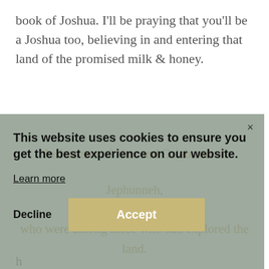book of Joshua.  I'll be praying that you'll be a Joshua too, believing in and entering that land of the promised milk & honey.
Joshua son of Nun and Caleb son of Jephunneh, who were among those who had explored the land.
their clothes and said to the entire Israelite assembly,
'The land we passed through and explored is exceedingly g…'
Numbers 14:14:6-7 NIV*
This website uses cookies to ensure you get the best experience on our website.
Learn more
Decline
Accept